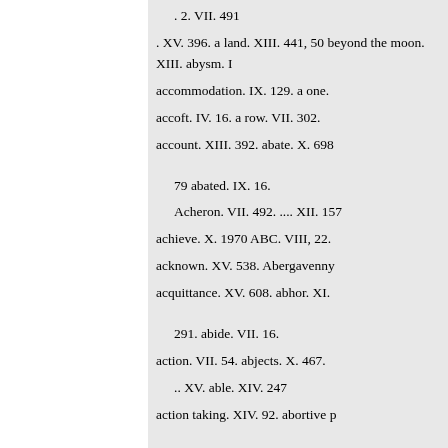. 2. VII. 491
. XV. 396. a land. XIII. 441, 50 beyond the moon. XIII. abysm. I
accommodation. IX. 129. a one.
accoft. IV. 16. a row. VII. 302.
account. XIII. 392. abate. X. 698
79 abated. IX. 16.
Acheron. VII. 492. .... XII. 157
achieve. X. 1970 ABC. VIII, 22.
acknown. XV. 538. Abergavenny
acquittance. XV. 608. abhor. XI.
291. abide. VII. 16.
action. VII. 54. abjects. X. 467.
.. XV. able. XIV. 247
action taking. XIV. 92. abortive p